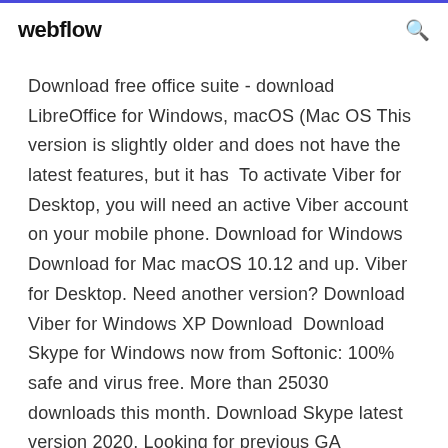webflow
Download free office suite - download LibreOffice for Windows, macOS (Mac OS This version is slightly older and does not have the latest features, but it has  To activate Viber for Desktop, you will need an active Viber account on your mobile phone. Download for Windows Download for Mac macOS 10.12 and up. Viber for Desktop. Need another version? Download Viber for Windows XP Download  Download Skype for Windows now from Softonic: 100% safe and virus free. More than 25030 downloads this month. Download Skype latest version 2020. Looking for previous GA versions?